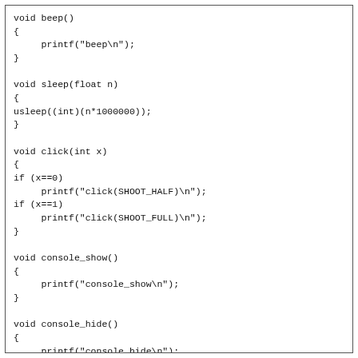void beep()
{
     printf("beep\n");
}

void sleep(float n)
{
usleep((int)(n*1000000));
}

void click(int x)
{
if (x==0)
     printf("click(SHOOT_HALF)\n");
if (x==1)
     printf("click(SHOOT_FULL)\n");
}

void console_show()
{
     printf("console_show\n");
}

void console_hide()
{
     printf("console_hide\n");
}


void display_on()
{
     printf("display_on\n");
}


void display_off()
{
     printf("display_off\n");
}